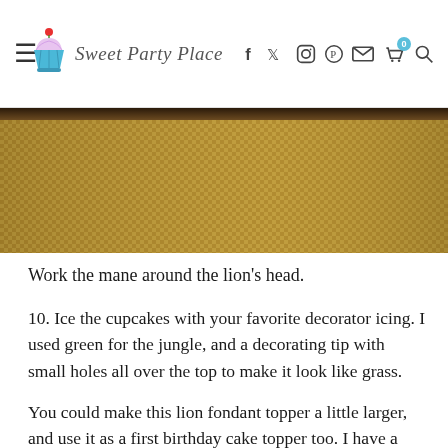Sweet Party Place — navigation bar with logo and social icons
[Figure (photo): Close-up photograph of burlap fabric texture in tan/khaki color with woven grid pattern, dark object visible at top edge]
Work the mane around the lion's head.
10. Ice the cupcakes with your favorite decorator icing. I used green for the jungle, and a decorating tip with small holes all over the top to make it look like grass.
You could make this lion fondant topper a little larger, and use it as a first birthday cake topper too. I have a couple lion craft ideas, and I've found some super cute lion party decorations. I'll be back to share some lion party ideas in the next day or so!